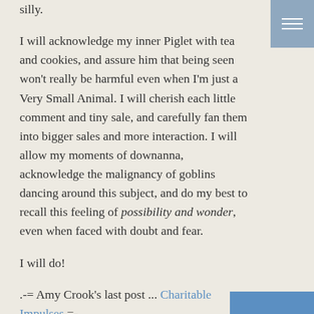silly.

I will acknowledge my inner Piglet with tea and cookies, and assure him that being seen won't really be harmful even when I'm just a Very Small Animal. I will cherish each little comment and tiny sale, and carefully fan them into bigger sales and more interaction. I will allow my moments of downanna, acknowledge the malignancy of goblins dancing around this subject, and do my best to recall this feeling of possibility and wonder, even when faced with doubt and fear.

I will do!
.-= Amy Crook's last post ... Charitable Impulses =-.